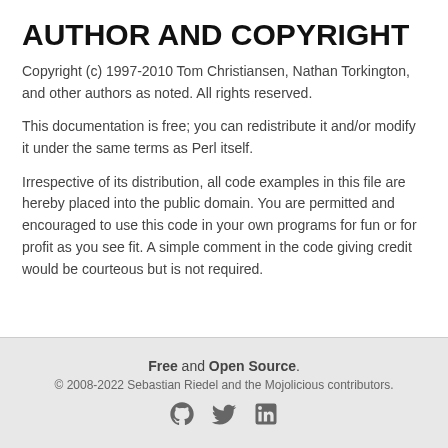AUTHOR AND COPYRIGHT
Copyright (c) 1997-2010 Tom Christiansen, Nathan Torkington, and other authors as noted. All rights reserved.
This documentation is free; you can redistribute it and/or modify it under the same terms as Perl itself.
Irrespective of its distribution, all code examples in this file are hereby placed into the public domain. You are permitted and encouraged to use this code in your own programs for fun or for profit as you see fit. A simple comment in the code giving credit would be courteous but is not required.
Free and Open Source. © 2008-2022 Sebastian Riedel and the Mojolicious contributors.